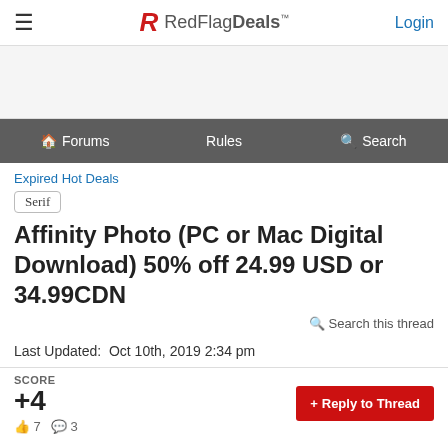≡  RedFlagDeals™  Login
[Figure (screenshot): Ad space / banner area]
Forums  Rules  Search
Expired Hot Deals
Serif
Affinity Photo (PC or Mac Digital Download) 50% off 24.99 USD or 34.99CDN
Search this thread
Last Updated:  Oct 10th, 2019 2:34 pm
SCORE +4  👍 7  💬 3  + Reply to Thread